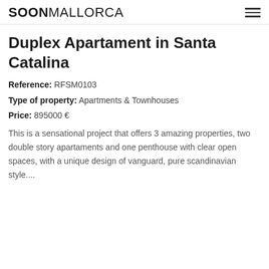SOONMALLORCA
Duplex Apartament in Santa Catalina
Reference: RFSM0103
Type of property: Apartments & Townhouses
Price: 895000 €
This is a sensational project that offers 3 amazing properties, two double story apartaments and one penthouse with clear open spaces, with a unique design of vanguard, pure scandinavian style....